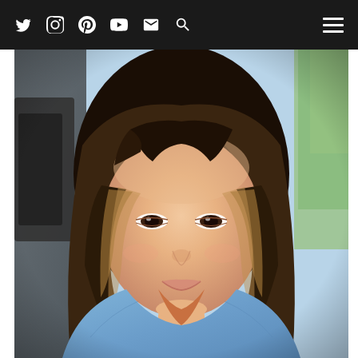Navigation bar with social media icons: Twitter, Instagram, Pinterest, YouTube, Email, Search, and hamburger menu
[Figure (photo): Close-up selfie of a young Asian woman with long highlighted brown hair with blonde balayage, wearing a denim jacket and a delicate necklace, smiling gently. She appears to be sitting in a car. Background shows a blurred car interior and outdoor greenery.]